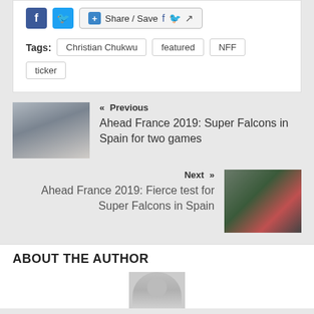Share / Save
Tags: Christian Chukwu  featured  NFF  ticker
« Previous
Ahead France 2019: Super Falcons in Spain for two games
[Figure (photo): Group photo of women in white tops]
Next »
Ahead France 2019: Fierce test for Super Falcons in Spain
[Figure (photo): Soccer players in pink and green jerseys on a field]
ABOUT THE AUTHOR
[Figure (photo): Default author avatar placeholder]